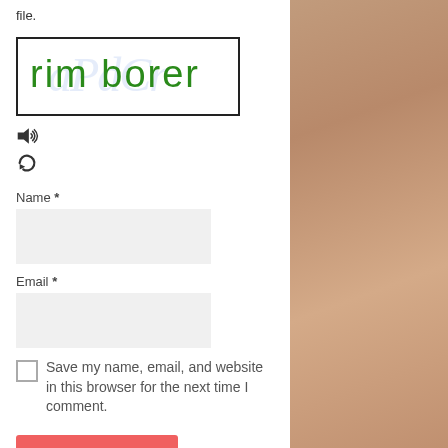file.
[Figure (other): CAPTCHA image with text 'rim borer' in green handwriting font on white background with faint blue text watermark]
[Figure (other): Speaker/audio icon for audio CAPTCHA]
[Figure (other): Refresh/reload icon to get new CAPTCHA]
Name *
[Figure (other): Name input text field (light gray)]
Email *
[Figure (other): Email input text field (light gray)]
Save my name, email, and website in this browser for the next time I comment.
Post Comment